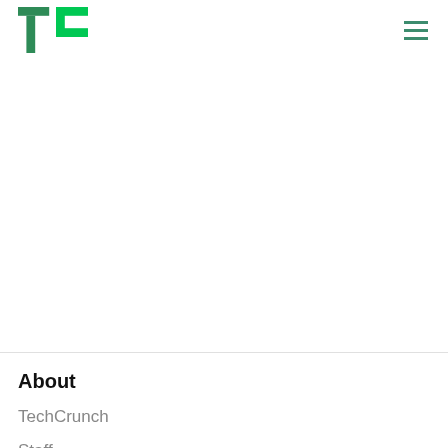TechCrunch logo and navigation menu
About
TechCrunch
Staff